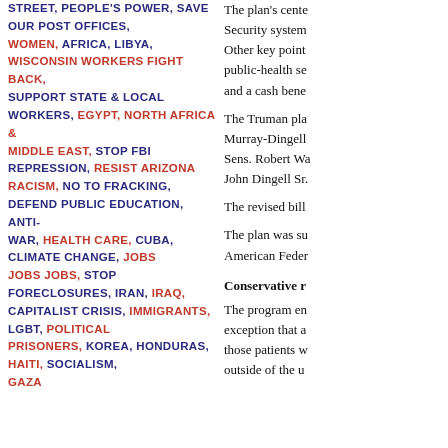STREET, PEOPLE'S POWER, SAVE OUR POST OFFICES, WOMEN, AFRICA, LIBYA, WISCONSIN WORKERS FIGHT BACK, SUPPORT STATE & LOCAL WORKERS, EGYPT, NORTH AFRICA & MIDDLE EAST, STOP FBI REPRESSION, RESIST ARIZONA RACISM, NO TO FRACKING, DEFEND PUBLIC EDUCATION, ANTI-WAR, HEALTH CARE, CUBA, CLIMATE CHANGE, JOBS JOBS JOBS, STOP FORECLOSURES, IRAN, IRAQ, CAPITALIST CRISIS, IMMIGRANTS, LGBT, POLITICAL PRISONERS, KOREA, HONDURAS, HAITI, SOCIALISM, GAZA
The plan's center Security system... Other key point public-health se and a cash bene
The Truman pla Murray-Dingell Sens. Robert Wa John Dingell Sr.
The revised bill
The plan was su American Feder
Conservative r
The program en exception that a those patients w outside of the u